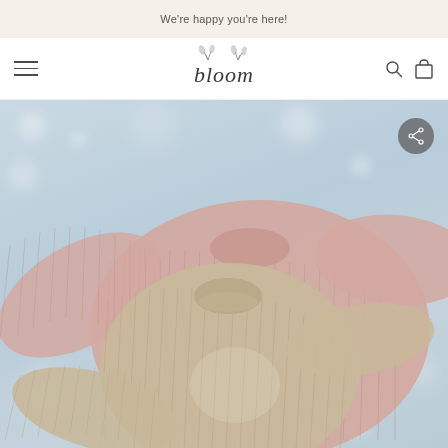We're happy you're here!
[Figure (logo): Bloom store logo with script lettering and botanical illustration]
[Figure (photo): Two knit sweaters (one pink, one beige/taupe) laid flat on a light blue background with soft bokeh light spots. A circular share button is visible in the upper right of the image.]